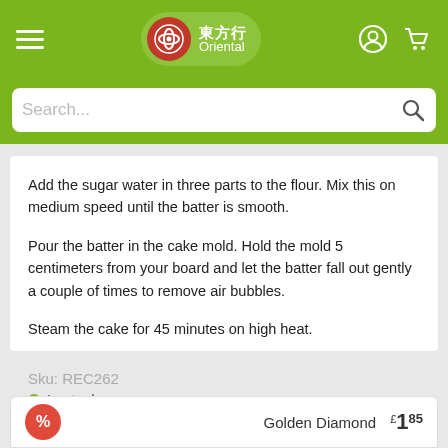Oriental (東方行) — header navigation with logo, hamburger menu, search bar
Add the sugar water in three parts to the flour. Mix this on medium speed until the batter is smooth.
Pour the batter in the cake mold. Hold the mold 5 centimeters from your board and let the batter fall out gently a couple of times to remove air bubbles.
Steam the cake for 45 minutes on high heat.
Sku: REC262
● In stock
Golden Diamond  £1.85